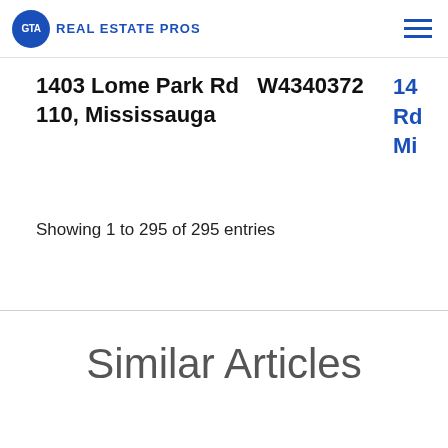GTA Real Estate Pros
1403 Lome Park Rd  W4340372
110, Mississauga
Showing 1 to 295 of 295 entries
Similar Articles